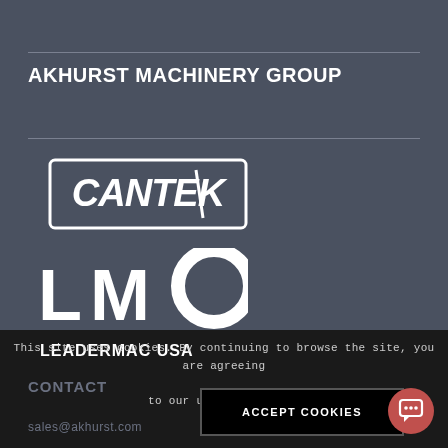AKHURST MACHINERY GROUP
[Figure (logo): CANTEK logo - white text in italic bold font inside a rectangular border with rounded corners on dark background]
[Figure (logo): LMC Leadermac USA logo - large bold LMC letters with C as circle shape, LEADERMAC USA text below, white on dark background]
This site uses cookies. By continuing to browse the site, you are agreeing to our use of cookies.
ACCEPT COOKIES
CONTACT
sales@akhurst.com